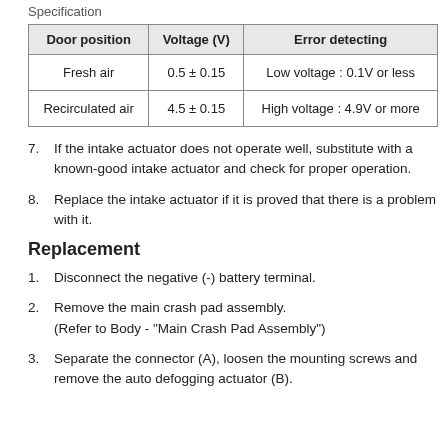Specification
| Door position | Voltage (V) | Error detecting |
| --- | --- | --- |
| Fresh air | 0.5 ± 0.15 | Low voltage : 0.1V or less |
| Recirculated air | 4.5 ± 0.15 | High voltage : 4.9V or more |
7. If the intake actuator does not operate well, substitute with a known-good intake actuator and check for proper operation.
8. Replace the intake actuator if it is proved that there is a problem with it.
Replacement
1. Disconnect the negative (-) battery terminal.
2. Remove the main crash pad assembly.
(Refer to Body - "Main Crash Pad Assembly")
3. Separate the connector (A), loosen the mounting screws and remove the auto defogging actuator (B).